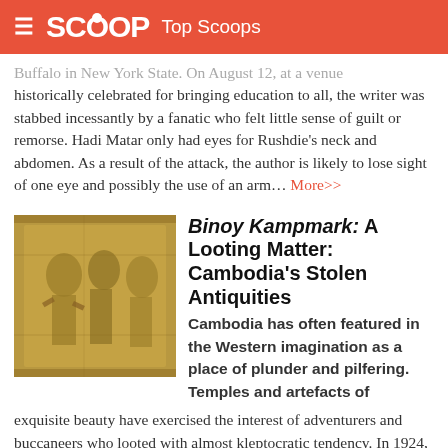SCOOP Top Scoops
Buffalo in New York State. On August 12, at a venue historically celebrated for bringing education to all, the writer was stabbed incessantly by a fanatic who felt little sense of guilt or remorse. Hadi Matar only had eyes for Rushdie's neck and abdomen. As a result of the attack, the author is likely to lose sight of one eye and possibly the use of an arm... More>>
Binoy Kampmark: A Looting Matter: Cambodia's Stolen Antiquities
Cambodia has often featured in the Western imagination as a place of plunder and pilfering. Temples and artefacts of exquisite beauty have exercised the interest of adventurers and buccaneers who looted with almost kleptocratic tendency. In 1924, the French novelist and future statesman André Malraux, proved himself one of Europe's greatest adventurers in making off with a ton of sacred stones from Angkor Wat... More>>